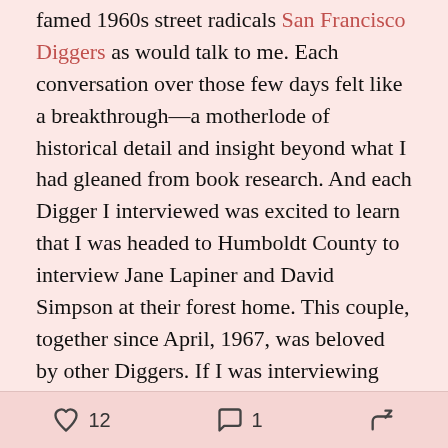famed 1960s street radicals San Francisco Diggers as would talk to me. Each conversation over those few days felt like a breakthrough—a motherlode of historical detail and insight beyond what I had gleaned from book research. And each Digger I interviewed was excited to learn that I was headed to Humboldt County to interview Jane Lapiner and David Simpson at their forest home. This couple, together since April, 1967, was beloved by other Diggers. If I was interviewing them, it meant that I was really doing my work. Instant Diggers cred.

In 2022, the Diggers are little-known. But in 1966-8, such was the Diggers' presence and notoriety that seemingly every reporter filing a story on the Haight
♡ 12   💬 1   ↗